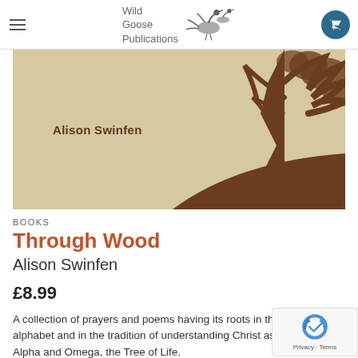Wild Goose Publications — navigation bar with hamburger menu and cart
[Figure (illustration): Book cover for 'Through Wood' by Alison Swinfen. Tan/parchment background with dark brown silhouette of a large tree on the right side. Author name 'Alison Swinfen' appears in bold dark brown text on the left-center of the cover.]
BOOKS
Through Wood
Alison Swinfen
£8.99
A collection of prayers and poems having its roots in the alphabet and in the tradition of understanding Christ as Alpha and Omega, the Tree of Life.